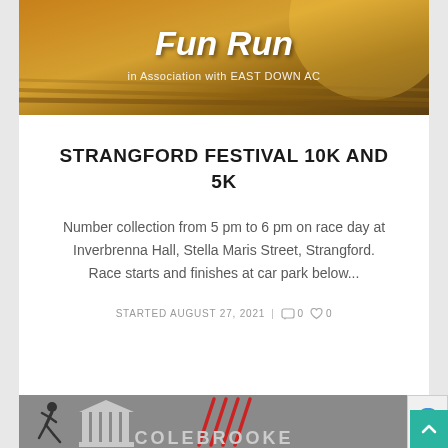[Figure (photo): Fun Run promotional banner image with golden field background, text 'Fun Run in Association with EAST DOWN AC']
STRANGFORD FESTIVAL 10K AND 5K
Number collection from 5 pm to 6 pm on race day at Inverbrenna Hall, Stella Maris Street, Strangford. Race starts and finishes at car park below...
STARTED AUGUST 27, 2021 | 0 0
[Figure (logo): Colebrooke logo with runner silhouette, building icon, red scratch marks, and COLEBROOKE text]